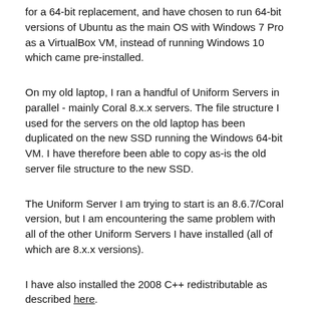for a 64-bit replacement, and have chosen to run 64-bit versions of Ubuntu as the main OS with Windows 7 Pro as a VirtualBox VM, instead of running Windows 10 which came pre-installed.
On my old laptop, I ran a handful of Uniform Servers in parallel - mainly Coral 8.x.x servers. The file structure I used for the servers on the old laptop has been duplicated on the new SSD running the Windows 64-bit VM. I have therefore been able to copy as-is the old server file structure to the new SSD.
The Uniform Server I am trying to start is an 8.6.7/Coral version, but I am encountering the same problem with all of the other Uniform Servers I have installed (all of which are 8.x.x versions).
I have also installed the 2008 C++ redistributable as described here.
I tried separately with the 32-bit then the 64-bit redistributable,